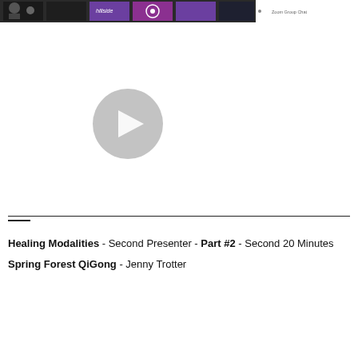[Figure (screenshot): Video player screenshot showing a Zoom group chat interface with a thumbnail strip at the top and a large play button in the center on a white background. The video appears to be paused.]
Healing Modalities - Second Presenter - Part #2 - Second 20 Minutes
Spring Forest QiGong - Jenny Trotter